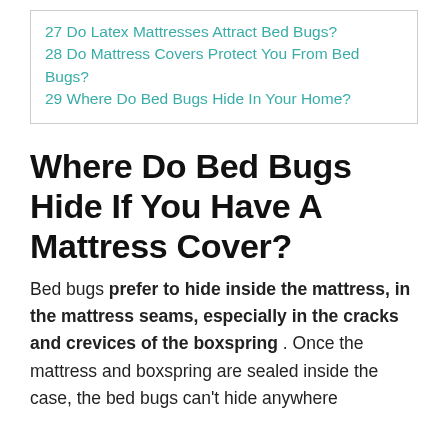27 Do Latex Mattresses Attract Bed Bugs?
28 Do Mattress Covers Protect You From Bed Bugs?
29 Where Do Bed Bugs Hide In Your Home?
Where Do Bed Bugs Hide If You Have A Mattress Cover?
Bed bugs prefer to hide inside the mattress, in the mattress seams, especially in the cracks and crevices of the boxspring . Once the mattress and boxspring are sealed inside the case, the bed bugs can't hide anywhere